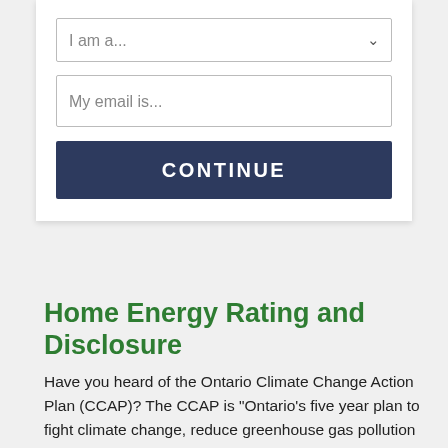[Figure (screenshot): Web form with a dropdown field labeled 'I am a...', an email input field labeled 'My email is...', and a dark navy blue 'CONTINUE' button]
Home Energy Rating and Disclosure
Have you heard of the Ontario Climate Change Action Plan (CCAP)? The CCAP is "Ontario's five year plan to fight climate change, reduce greenhouse gas pollution and transition to a low-carbon economy." If you plan to buy or sell a house in the next several years, there is an action plan that will likely affect you. The good news: it benefits both the seller and the homebuyer. Starting...